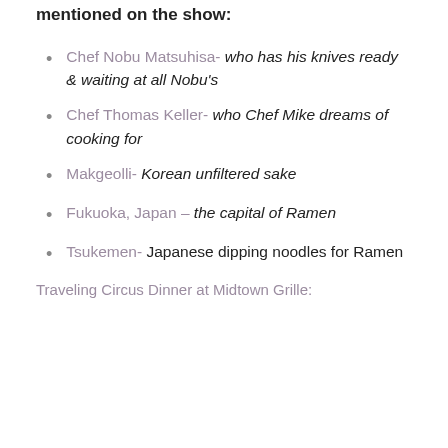mentioned on the show:
Chef Nobu Matsuhisa- who has his knives ready & waiting at all Nobu's
Chef Thomas Keller- who Chef Mike dreams of cooking for
Makgeolli- Korean unfiltered sake
Fukuoka, Japan – the capital of Ramen
Tsukemen- Japanese dipping noodles for Ramen
Traveling Circus Dinner at Midtown Grille: